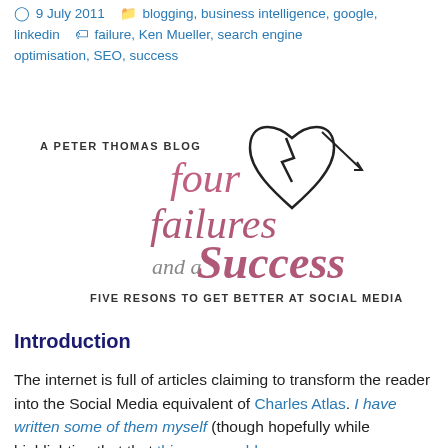9 July 2011   blogging, business intelligence, google, linkedin   failure, Ken Mueller, search engine optimisation, SEO, success
[Figure (logo): Four Failures and a Success blog logo — stylized text in pink/mauve script reading 'four failures and a Success' with a broken heart graphic, subtitle 'FIVE RESONS TO GET BETTER AT SOCIAL MEDIA', small text 'A PETER THOMAS BLOG']
Introduction
The internet is full of articles claiming to transform the reader into the Social Media equivalent of Charles Atlas. I have written some of them myself (though hopefully while highlighting that that things are seldom as